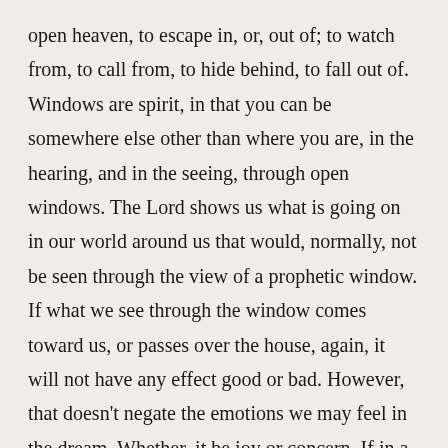open heaven, to escape in, or, out of; to watch from, to call from, to hide behind, to fall out of. Windows are spirit, in that you can be somewhere else other than where you are, in the hearing, and in the seeing, through open windows. The Lord shows us what is going on in our world around us that would, normally, not be seen through the view of a prophetic window. If what we see through the window comes toward us, or passes over the house, again, it will not have any effect good or bad. However, that doesn’t negate the emotions we may feel in the dream. Whether, it be joy or concern. If in a dream one observes through a sliding glass window, a thing; that person will, most likely, walk